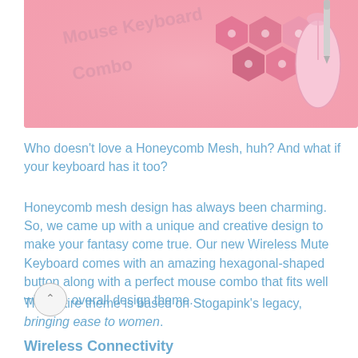[Figure (photo): Pink keyboard and mouse combo product photo with honeycomb-style keys, stylus, and text overlay reading 'Mouse Keyboard Combo' on a pink background]
Who doesn't love a Honeycomb Mesh, huh? And what if your keyboard has it too?
Honeycomb mesh design has always been charming. So, we came up with a unique and creative design to make your fantasy come true. Our new Wireless Mute Keyboard comes with an amazing hexagonal-shaped button along with a perfect mouse combo that fits well with the overall design theme.
The entire theme is based on Stogapink's legacy, bringing ease to women.
Wireless Connectivity